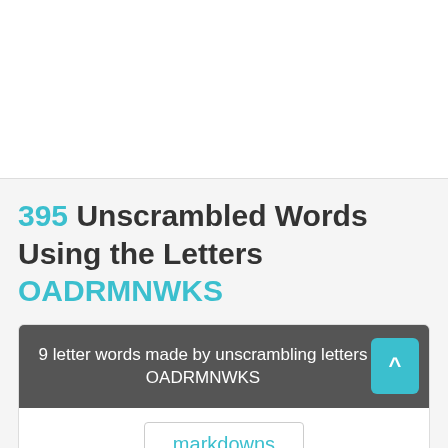395 Unscrambled Words Using the Letters OADRMNWKS
9 letter words made by unscrambling letters OADRMNWKS
markdowns